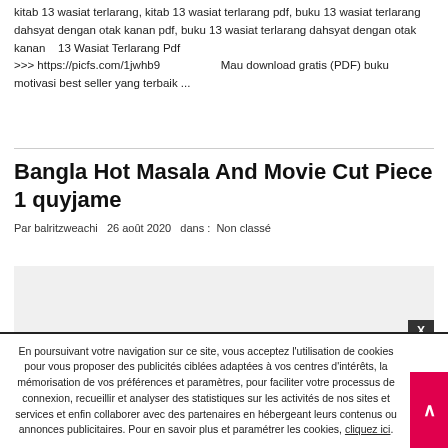kitab 13 wasiat terlarang, kitab 13 wasiat terlarang pdf, buku 13 wasiat terlarang dahsyat dengan otak kanan pdf, buku 13 wasiat terlarang dahsyat dengan otak kanan    13 Wasiat Terlarang Pdf >>> https://picfs.com/1jwhb9                    Mau download gratis (PDF) buku motivasi best seller yang terbaik ...
Bangla Hot Masala And Movie Cut Piece 1 quyjame
Par balritzweachi   26 août 2020   dans : Non classé
[Figure (other): Gray placeholder box for an embedded image or advertisement]
En poursuivant votre navigation sur ce site, vous acceptez l'utilisation de cookies pour vous proposer des publicités ciblées adaptées à vos centres d'intérêts, la mémorisation de vos préférences et paramètres, pour faciliter votre processus de connexion, recueillir et analyser des statistiques sur les activités de nos sites et services et enfin collaborer avec des partenaires en hébergeant leurs contenus ou annonces publicitaires. Pour en savoir plus et paramétrer les cookies, cliquez ici.